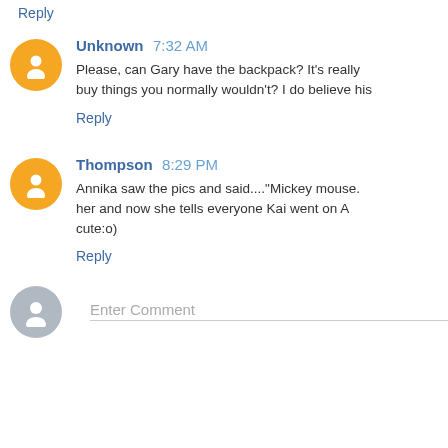Reply
Unknown 7:32 AM
Please, can Gary have the backpack? It's really buy things you normally wouldn't? I do believe his
Reply
Thompson 8:29 PM
Annika saw the pics and said...."Mickey mouse. her and now she tells everyone Kai went on A cute:o)
Reply
Enter Comment